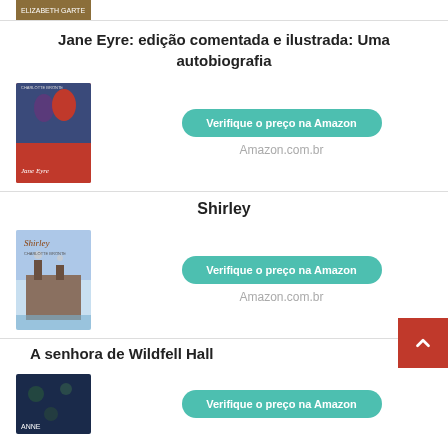[Figure (photo): Partial top of a book cover, cut off, showing a tan/gold spine area with author text]
Jane Eyre: edição comentada e ilustrada: Uma autobiografia
[Figure (photo): Book cover of Jane Eyre showing two silhouettes in red/blue]
Verifique o preço na Amazon
Amazon.com.br
Shirley
[Figure (photo): Book cover of Shirley showing a watercolor factory building]
Verifique o preço na Amazon
Amazon.com.br
A senhora de Wildfell Hall
[Figure (photo): Partial book cover of Anne Brontë book with dark blue floral cover]
Verifique o preço na Amazon